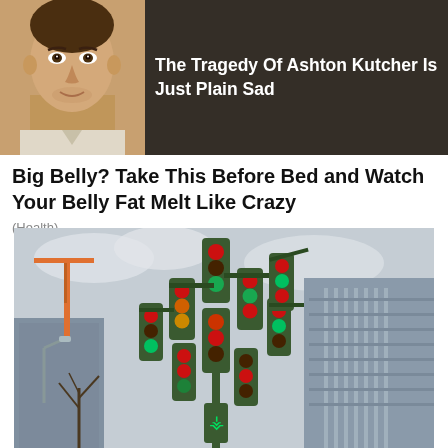[Figure (photo): Top advertisement banner showing a man's face on the left and dark overlay with text on the right]
The Tragedy Of Ashton Kutcher Is Just Plain Sad
Big Belly? Take This Before Bed and Watch Your Belly Fat Melt Like Crazy
(Health)
[Figure (photo): Photograph of a large sculpture made of many stacked traffic lights in an urban setting with buildings and a crane in the background]